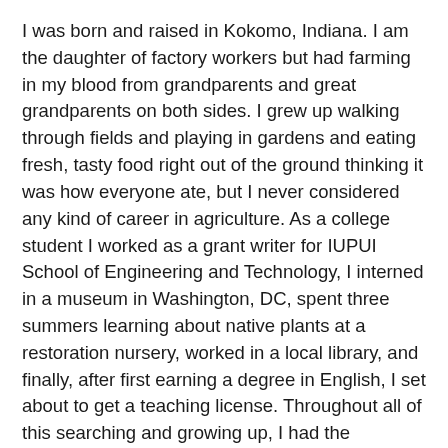I was born and raised in Kokomo, Indiana. I am the daughter of factory workers but had farming in my blood from grandparents and great grandparents on both sides. I grew up walking through fields and playing in gardens and eating fresh, tasty food right out of the ground thinking it was how everyone ate, but I never considered any kind of career in agriculture. As a college student I worked as a grant writer for IUPUI School of Engineering and Technology, I interned in a museum in Washington, DC, spent three summers learning about native plants at a restoration nursery, worked in a local library, and finally, after first earning a degree in English, I set about to get a teaching license. Throughout all of this searching and growing up, I had the pleasure of moving around quite a bit and living in DC, Seattle, and Oakland, CA, where I first discovered farmers' markets. I was a fan right away.
In 2001, some forward-thinking people in my hometown started the first Kokomo Farmers' Market, and a few years later, after I moved back to Kokomo, I started selling my handmade soap there, and the farmers' market became my community.